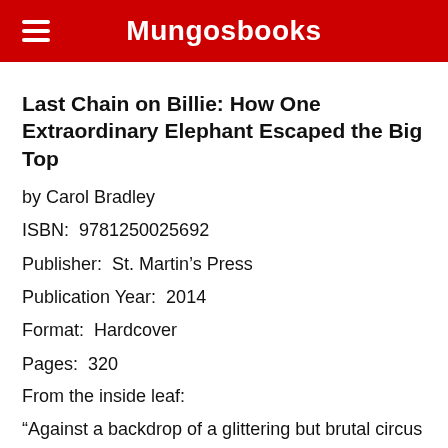Mungosbooks
Last Chain on Billie: How One Extraordinary Elephant Escaped the Big Top
by Carol Bradley
ISBN:  9781250025692
Publisher:  St. Martin's Press
Publication Year:  2014
Format:  Hardcover
Pages:  320
From the inside leaf:
“Against a backdrop of a glittering but brutal circus world, Last Chain on Billie charts the history of elephants in America, the inspiring story of the Elephant Sanctuary, and the spellbinding tale of Billie – a resilient elephant who defied the system even as she struggled